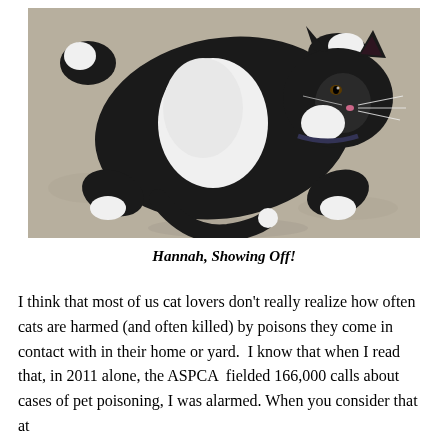[Figure (photo): A black and white tuxedo cat lying on its back on a concrete/pavement surface, showing off its belly. The cat has white patches on its chest and paws against black fur.]
Hannah, Showing Off!
I think that most of us cat lovers don't really realize how often cats are harmed (and often killed) by poisons they come in contact with in their home or yard.  I know that when I read that, in 2011 alone, the ASPCA  fielded 166,000 calls about cases of pet poisoning, I was alarmed. When you consider that at